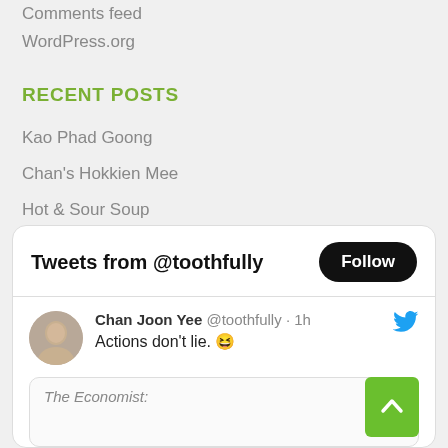Comments feed
WordPress.org
RECENT POSTS
Kao Phad Goong
Chan's Hokkien Mee
Hot & Sour Soup
Phad Thai On A Hotplate
Kyrgyz Pilaf
[Figure (screenshot): Twitter/X widget showing tweets from @toothfully with a Follow button. Shows a tweet by Chan Joon Yee @toothfully · 1h reading 'Actions don't lie. 😆' with a quoted card from The Economist below. A green scroll-to-top button is visible.]